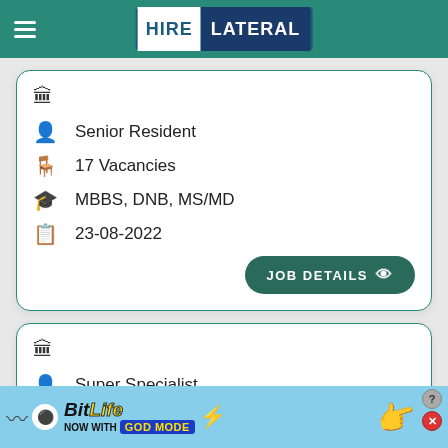HIRE LATERAL
Senior Resident
17 Vacancies
MBBS, DNB, MS/MD
23-08-2022
JOB DETAILS
Super Specialist
[Figure (screenshot): BitLife - Now with GOD MODE advertisement banner at the bottom of the screen]